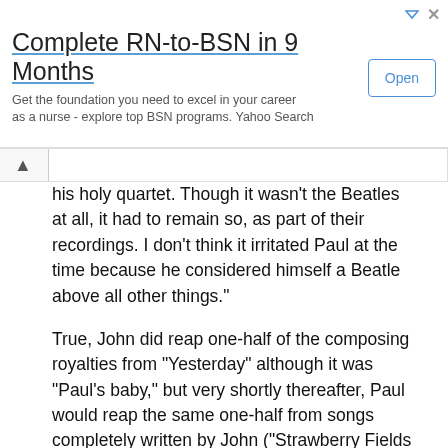[Figure (other): Advertisement banner for 'Complete RN-to-BSN in 9 Months' with an Open button, Yahoo Search ad]
his holy quartet. Though it wasn’t the Beatles at all, it had to remain so, as part of their recordings. I don’t think it irritated Paul at the time because he considered himself a Beatle above all other things.”
True, John did reap one-half of the composing royalties from “Yesterday” although it was “Paul’s baby,” but very shortly thereafter, Paul would reap the same one-half from songs completely written by John (“Strawberry Fields Forever,” “Come Together,” “I Am The Walrus,” “Revolution,” and many others.)
When the Beatles began touring in June of 1965, Paul initially didn’t play “Yesterday” because he thought it might upset John. This changed when the Beatles